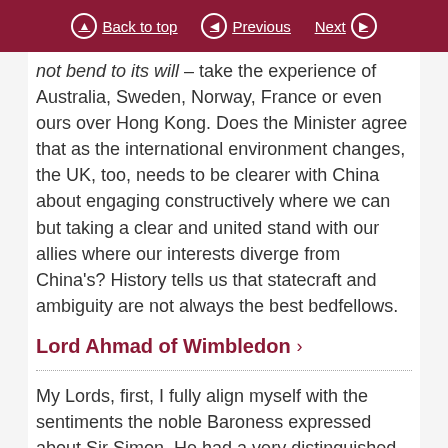Back to top | Previous | Next
not bend to its will – take the experience of Australia, Sweden, Norway, France or even ours over Hong Kong. Does the Minister agree that as the international environment changes, the UK, too, needs to be clearer with China about engaging constructively where we can but taking a clear and united stand with our allies where our interests diverge from China's? History tells us that statecraft and ambiguity are not always the best bedfellows.
Lord Ahmad of Wimbledon
My Lords, first, I fully align myself with the sentiments the noble Baroness expressed about Sir Simon. He had a very distinguished career in the Foreign Office. On a personal level, he has been an